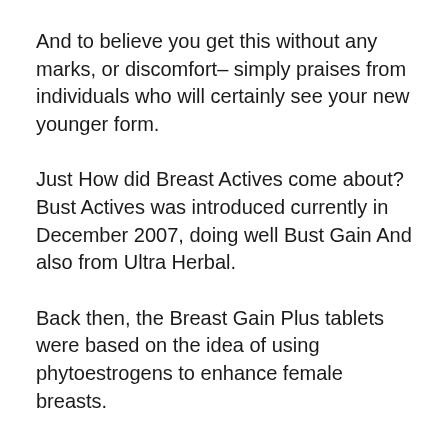And to believe you get this without any marks, or discomfort– simply praises from individuals who will certainly see your new younger form.
Just How did Breast Actives come about? Bust Actives was introduced currently in December 2007, doing well Bust Gain And also from Ultra Herbal.
Back then, the Breast Gain Plus tablets were based on the idea of using phytoestrogens to enhance female breasts.
It was uncovered, through clinical research study, that promoting the estrogen receptors in the busts with phytoestrogens [1], could boost breast dimension in females by as